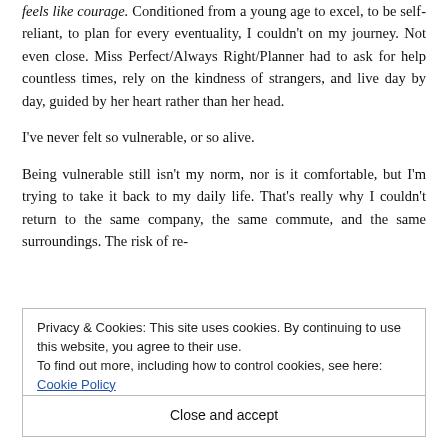feels like courage. Conditioned from a young age to excel, to be self-reliant, to plan for every eventuality, I couldn't on my journey. Not even close. Miss Perfect/Always Right/Planner had to ask for help countless times, rely on the kindness of strangers, and live day by day, guided by her heart rather than her head.
I've never felt so vulnerable, or so alive.
Being vulnerable still isn't my norm, nor is it comfortable, but I'm trying to take it back to my daily life. That's really why I couldn't return to the same company, the same commute, and the same surroundings. The risk of re-
Privacy & Cookies: This site uses cookies. By continuing to use this website, you agree to their use.
To find out more, including how to control cookies, see here: Cookie Policy
Close and accept